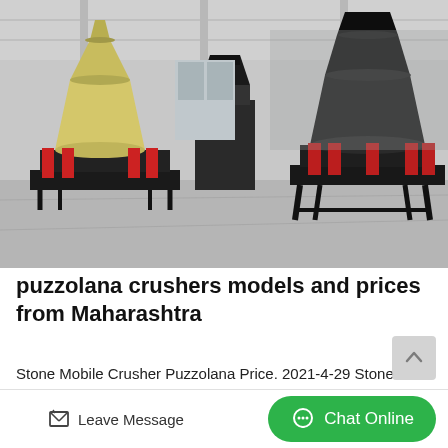[Figure (photo): Industrial warehouse interior showing multiple cone crusher machines in a row — yellow/cream colored cone crushers on the left and dark/black cone crushers on the right, with red hydraulic cylinders visible on both, on a concrete floor inside a large metal-framed building.]
puzzolana crushers models and prices from Maharashtra
Stone Mobile Crusher Puzzolana Price. 2021-4-29 Stone Mobile Crusher Puzzolana Price. iron ore wet ball mill especially mobile
Leave Message
Chat Online